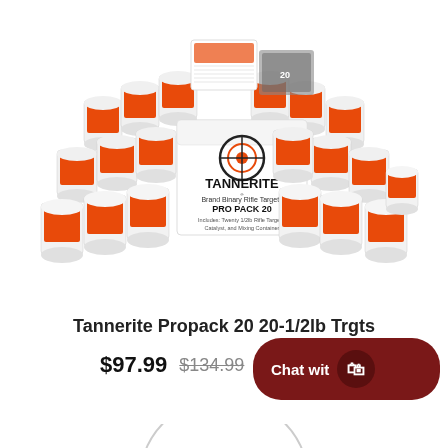[Figure (photo): Tannerite Propack 20 product photo showing 20 orange-and-white cylindrical containers arranged in an arc around a white box labeled TANNERITE Brand Binary Rifle Targets PRO PACK 20]
Tannerite Propack 20 20-1/2lb Trgts
$97.99  $134.99
Chat wit